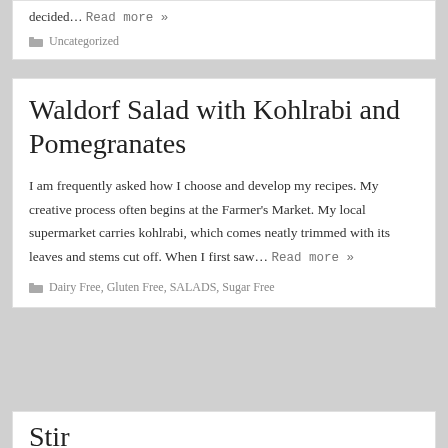decided… Read more »
Uncategorized
Waldorf Salad with Kohlrabi and Pomegranates
I am frequently asked how I choose and develop my recipes. My creative process often begins at the Farmer's Market. My local supermarket carries kohlrabi, which comes neatly trimmed with its leaves and stems cut off. When I first saw… Read more »
Dairy Free, Gluten Free, SALADS, Sugar Free
Stir...